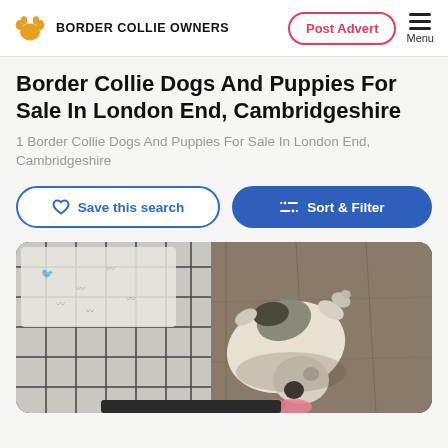BORDER COLLIE OWNERS | Post Advert | Menu
Border Collie Dogs And Puppies For Sale In London End, Cambridgeshire
1 Border Collie Dogs And Puppies For Sale In London End, Cambridgeshire
Save this search | Sort & Filter
[Figure (photo): A Border Collie puppy lying on a wooden floor next to a black wire dog crate, photographed from above. The puppy is mostly white with grey and black markings.]